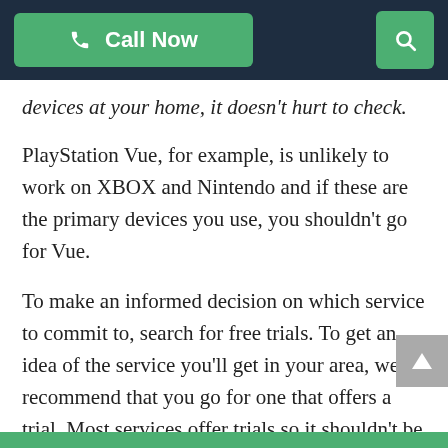Call Now | Search
devices at your home, it doesn't hurt to check. PlayStation Vue, for example, is unlikely to work on XBOX and Nintendo and if these are the primary devices you use, you shouldn't go for Vue.
To make an informed decision on which service to commit to, search for free trials. To get an idea of the service you'll get in your area, we'd recommend that you go for one that offers a trial. Most services offer trials so it shouldn't be that difficult.